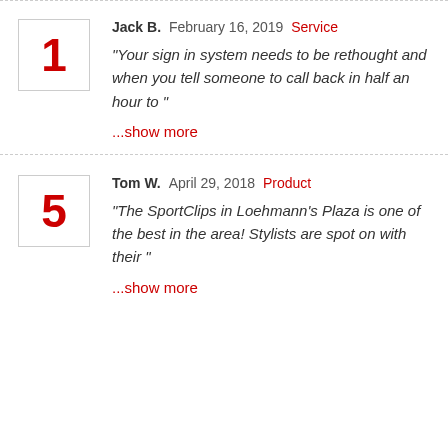Jack B. February 16, 2019 Service "Your sign in system needs to be rethought and when you tell someone to call back in half an hour to " ...show more
Tom W. April 29, 2018 Product "The SportClips in Loehmann's Plaza is one of the best in the area! Stylists are spot on with their " ...show more